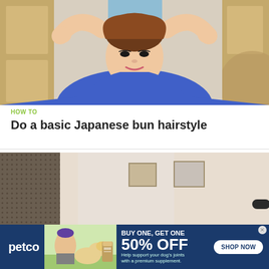[Figure (photo): Young Asian woman in blue top with hands raised behind head, selfie-style photo in a room with wooden furniture]
HOW TO
Do a basic Japanese bun hairstyle
[Figure (photo): Woman with hair up in a bun standing in a room, video thumbnail with dark/blurred side panels]
[Figure (infographic): Petco advertisement banner: BUY ONE, GET ONE 50% OFF - Help support your dog's joints with a premium supplement. SHOP NOW button. Shows woman with golden retriever dog and supplement bottle.]